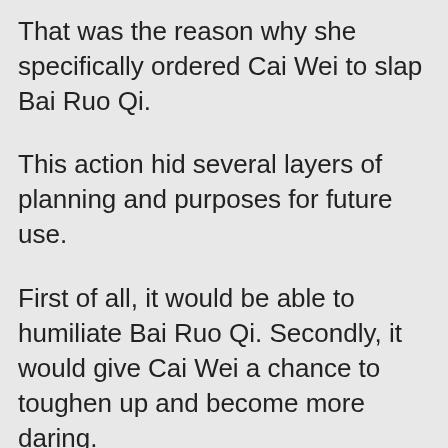That was the reason why she specifically ordered Cai Wei to slap Bai Ruo Qi.
This action hid several layers of planning and purposes for future use.
First of all, it would be able to humiliate Bai Ruo Qi. Secondly, it would give Cai Wei a chance to toughen up and become more daring.
And finally, this was the most important point. Cai Wei would have thoroughly offended Bai Ruo Qi. So if she were to ever leave Huang Yue Li's protection, she would quickly receive Bai Ruo Qi's insane retaliation.